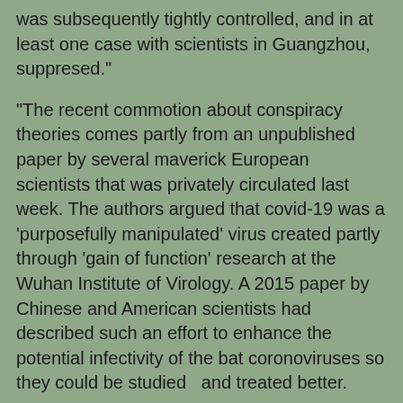was subsequently tightly controlled, and in at least one case with scientists in Guangzhou, suppresed."
"The recent commotion about conspiracy theories comes partly from an unpublished paper by several maverick European scientists that was privately circulated last week. The authors argued that covid-19 was a 'purposefully manipulated' virus created partly through 'gain of function' research at the Wuhan Institute of Virology. A 2015 paper by Chinese and American scientists had described such an effort to enhance the potential infectivity of the bat coronoviruses so they could be studied  and treated better.
Both U.S. and British intelligence analysts are skeptical that covid-18 resulted from deliberate human engineering. The claims about 'engineered origins' in the paper were 'not substantiated' by British government scientists, a British official told me. U.S. intelligence analysts are also confident that the virus wasn't created in a laboratory, but they haven't ruled out the possibility that a natural organic virus that was enhanced for scientific reasons may have leaked accidentally in Wuhan."